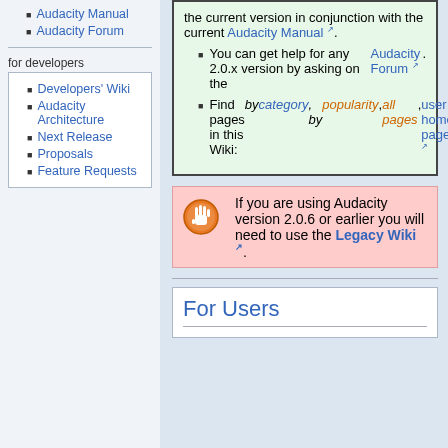Audacity Manual
Audacity Forum
for developers
Developers' Wiki
Audacity Architecture
Next Release
Proposals
Feature Requests
the current version in conjunction with the current Audacity Manual. You can get help for any 2.0.x version by asking on the Audacity Forum. Find pages in this Wiki: by category, by popularity, all pages, user home pages
If you are using Audacity version 2.0.6 or earlier you will need to use the Legacy Wiki.
For Users